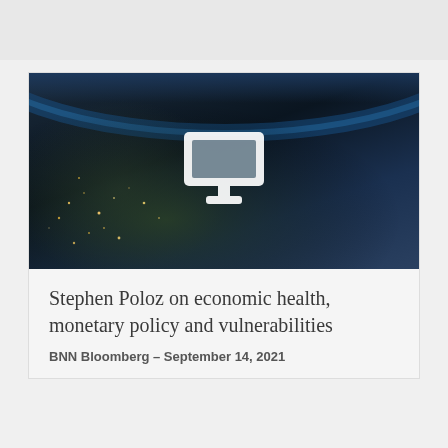[Figure (screenshot): Video thumbnail showing a dark earth from space with city lights visible, overlaid with a white monitor/screen icon indicating a video player]
Stephen Poloz on economic health, monetary policy and vulnerabilities
BNN Bloomberg – September 14, 2021